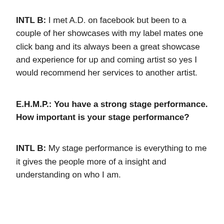INTL B: I met A.D. on facebook but been to a couple of her showcases with my label mates one click bang and its always been a great showcase and experience for up and coming artist so yes I would recommend her services to another artist.
E.H.M.P.: You have a strong stage performance. How important is your stage performance?
INTL B: My stage performance is everything to me it gives the people more of a insight and understanding on who I am.